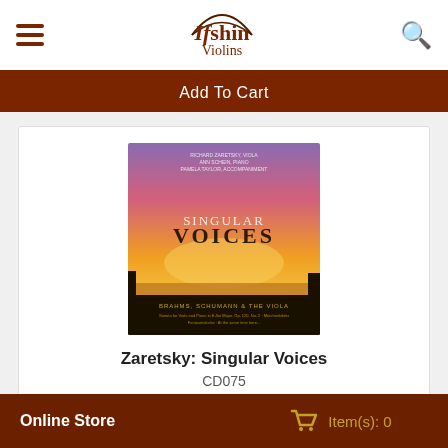Ifshin Violins
Add To Cart
[Figure (photo): Album cover for Zaretsky: Singular Voices (CD075) showing a sunset landscape with text 'Singular Voices' and 'Brahms, Schumann & The Viola']
Zaretsky: Singular Voices
CD075
$15.00
Online Store   Item(s): 0